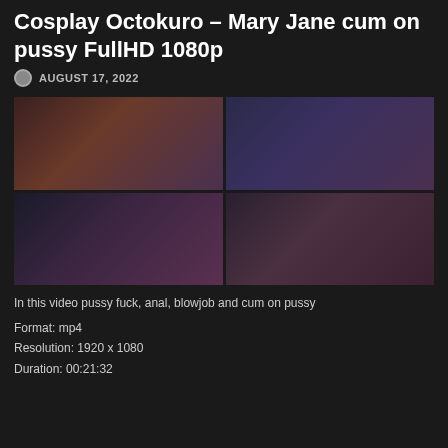Cosplay Octokuro – Mary Jane cum on pussy FullHD 1080p
AUGUST 17, 2022
[Figure (photo): Four-panel video thumbnail grid showing scenes from the video]
In this video pussy fuck, anal, blowjob and cum on pussy
Format: mp4
Resolution: 1920 x 1080
Duration: 00:21:32